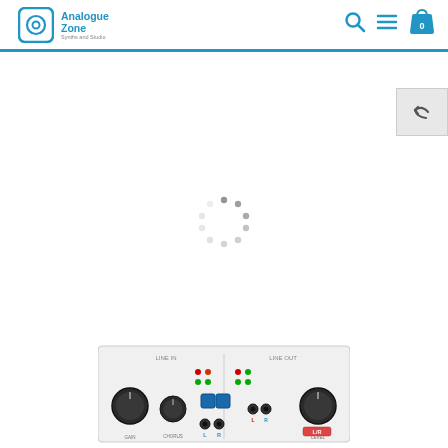[Figure (logo): Analogue Zone logo with circular icon and text 'Analogue Zone - Synths and Studio']
[Figure (screenshot): Website navigation icons: search magnifier, hamburger menu, and shopping bag with number 0]
[Figure (other): Back/return navigation button with arrow icon on right side panel]
[Figure (other): Loading spinner animation - circular dots pattern in gray]
[Figure (photo): Audio interface hardware photo showing mixer panel with LINE IN and LINE OUT sections, knobs, buttons, LED indicators, and audio jacks in white/gray casing]